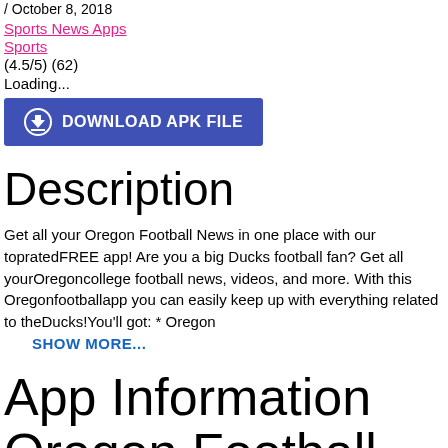/ October 8, 2018
Sports News Apps
Sports
(4.5/5) (62)
Loading...
DOWNLOAD APK FILE
Description
Get all your Oregon Football News in one place with our topratedFREE app! Are you a big Ducks football fan? Get all yourOregoncollege football news, videos, and more. With this Oregonfootballapp you can easily keep up with everything related to theDucks!You'll got: * Oregon
SHOW MORE...
App Information Oregon Football